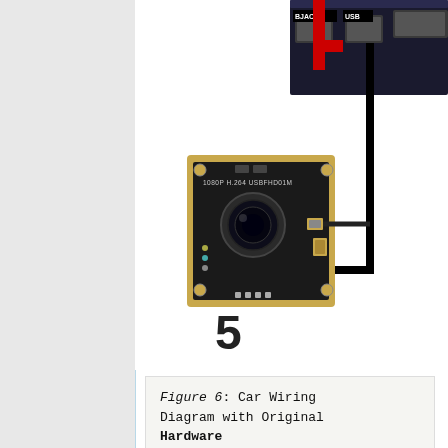[Figure (engineering-diagram): Car wiring diagram showing a USB camera module (1080P H.264 USB camera board) connected via black cable to a single-board computer with BJACK and USB ports visible at the top right. The number 5 labels the camera module component. Red and black wires connect to the board at upper right.]
Figure 6: Car Wiring Diagram with Original Hardware